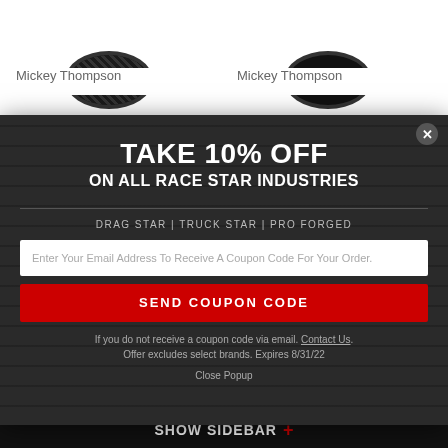[Figure (screenshot): Two Mickey Thompson tire product images at top of page]
Mickey Thompson
Mickey Thompson
[Figure (screenshot): Promotional popup overlay with dark wood texture background offering 10% off on all Race Star Industries products]
TAKE 10% OFF
ON ALL RACE STAR INDUSTRIES
DRAG STAR | TRUCK STAR | PRO FORGED
Enter Your Email Address To Receive A Coupon Code For Your Order.
SEND COUPON CODE
If you do not receive a coupon code via email. Contact Us. Offer excludes select brands. Expires 8/31/22
Close Popup
for F147 D5 Drag Pack Wheels
Sportsman S/R Tire (0086) 9000032430
$149.99  $98.99
$438.95  $379.09
SHOW SIDEBAR +